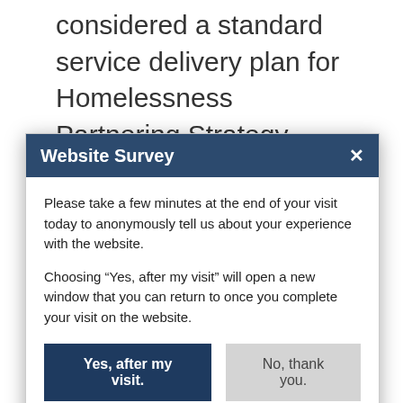considered a standard service delivery plan for Homelessness Partnering Strategy funding. We heard that communities often have several plans and processes to meet the
[Figure (screenshot): Website Survey modal dialog popup with dark blue header, close button (×), body text asking user to take a survey at end of visit, two buttons: 'Yes, after my visit.' (dark blue) and 'No, thank you.' (light gray)]
Replace the current Homelessness